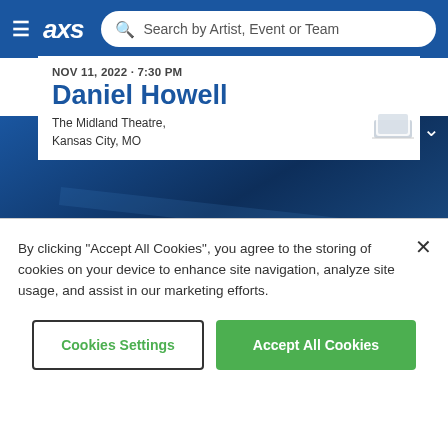[Figure (screenshot): AXS website navigation bar with hamburger menu, AXS logo, and search bar reading 'Search by Artist, Event or Team']
NOV 11, 2022 · 7:30 PM
Daniel Howell
The Midland Theatre,
Kansas City, MO
[Figure (screenshot): Hero banner with dark blue background and text 'Prepare for your night out with these options:']
Get Parking
By clicking "Accept All Cookies", you agree to the storing of cookies on your device to enhance site navigation, analyze site usage, and assist in our marketing efforts.
Cookies Settings
Accept All Cookies